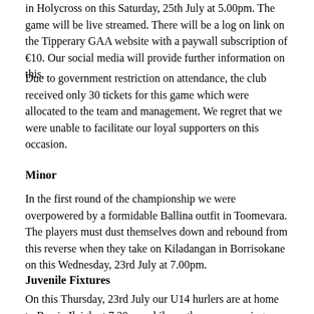in Holycross on this Saturday, 25th July at 5.00pm. The game will be live streamed. There will be a log on link on the Tipperary GAA website with a paywall subscription of €10. Our social media will provide further information on this.
Due to government restriction on attendance, the club received only 30 tickets for this game which were allocated to the team and management. We regret that we were unable to facilitate our loyal supporters on this occasion.
Minor
In the first round of the championship we were overpowered by a formidable Ballina outfit in Toomevara. The players must dust themselves down and rebound from this reverse when they take on Kiladangan in Borrisokane on this Wednesday, 23rd July at 7.00pm.
Juvenile Fixtures
On this Thursday, 23rd July our U14 hurlers are at home to Borris-Ileigh at 7.30pm while on the same evening our second U12 team travel to Roscrea to take on the home team at 6.45pm.